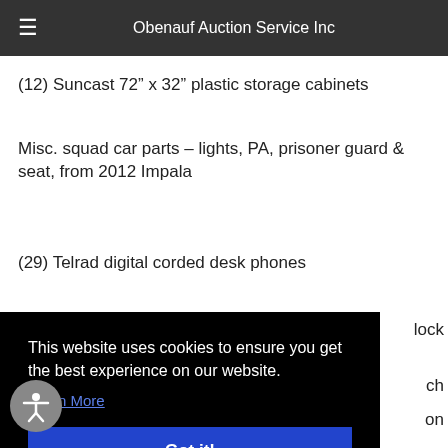Obenauf Auction Service Inc
(12) Suncast 72” x 32” plastic storage cabinets
Misc. squad car parts – lights, PA, prisoner guard & seat, from 2012 Impala
(29) Telrad digital corded desk phones
This website uses cookies to ensure you get the best experience on our website. Learn More Got it!